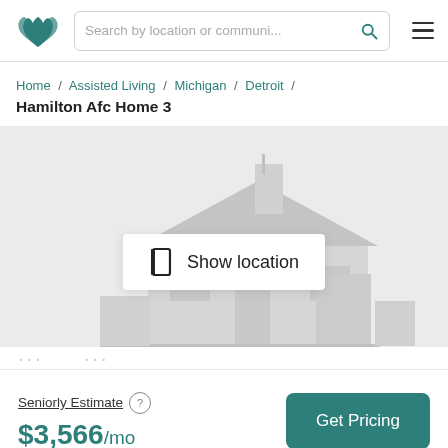Search by location or communi...
Home / Assisted Living / Michigan / Detroit / Hamilton Afc Home 3
Hamilton Afc Home 3
[Figure (illustration): Gray placeholder illustration of a house with a 'Show location' button overlay featuring a map/book icon]
Seniorly Estimate
$3,566/mo
Get Pricing